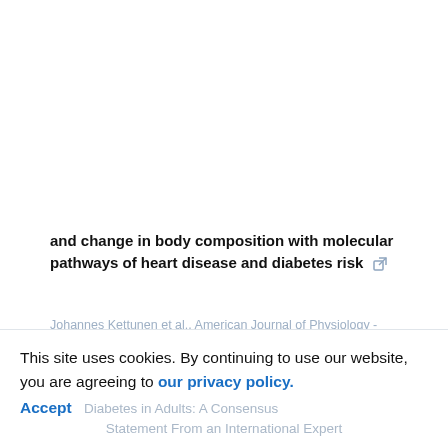and change in body composition with molecular pathways of heart disease and diabetes risk
Johannes Kettunen et al., American Journal of Physiology - Endocrinology and Metabolism, 2019
[Figure (logo): TrendMD logo with gear/settings icon. Shows 'Powered by' text above 'TREND MD' where MD is in a blue box.]
Most Read | Most Cited tab bar
This site uses cookies. By continuing to use our website, you are agreeing to our privacy policy. Accept  Diabetes in Adults: A Consensus Statement From an International Expert